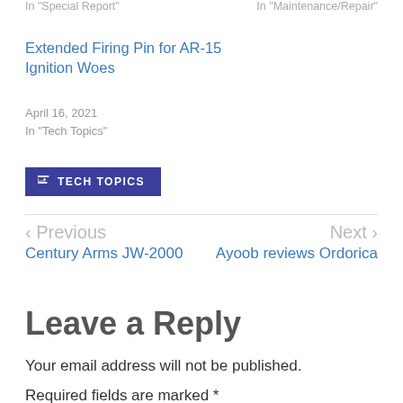In "Special Report"
In "Maintenance/Repair"
Extended Firing Pin for AR-15 Ignition Woes
April 16, 2021
In "Tech Topics"
TECH TOPICS
< Previous
Century Arms JW-2000
Next >
Ayoob reviews Ordorica
Leave a Reply
Your email address will not be published.
Required fields are marked *